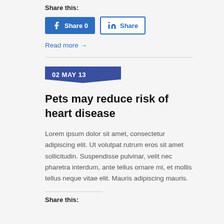Share this:
[Figure (screenshot): Two social share buttons: Facebook 'Share 0' (blue filled) and LinkedIn 'Share' (blue outlined)]
Read more →
02 MAY 13
Pets may reduce risk of heart disease
Lorem ipsum dolor sit amet, consectetur adipiscing elit. Ut volutpat rutrum eros sit amet sollicitudin. Suspendisse pulvinar, velit nec pharetra interdum, ante tellus ornare mi, et mollis tellus neque vitae elit. Mauris adipiscing mauris.
Share this: